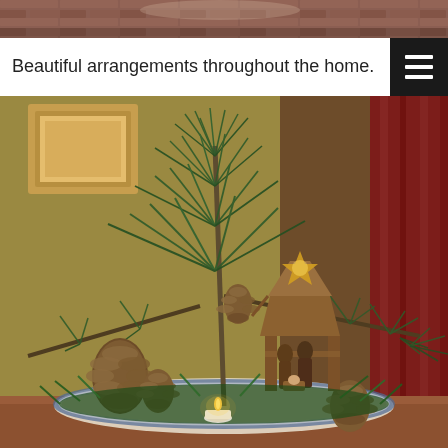[Figure (photo): Top portion of a decorative Christmas arrangement photo, cropped — showing a brick wall background at the top edge.]
Beautiful arrangements throughout the home.
[Figure (photo): A Christmas floral arrangement in a bowl featuring tall pine branches with long needles, pine cones, a small wooden nativity scene with a star, and a lit tea light candle. Background shows an olive/gold wall and dark red curtain, with a framed picture on the wall.]